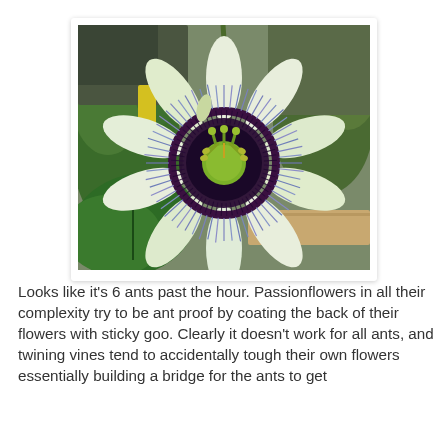[Figure (photo): Close-up photograph of a passionflower (Passiflora caerulea) in bloom showing its distinctive blue-purple radiating filaments (corona), green-yellow ovary and stamens at center, white petals, and a brown/dark purple central ring. Green leaves visible in the background along with a wooden fence rail and some out-of-focus foliage.]
Looks like it's 6 ants past the hour. Passionflowers in all their complexity try to be ant proof by coating the back of their flowers with sticky goo. Clearly it doesn't work for all ants, and twining vines tend to accidentally tough their own flowers essentially building a bridge for the ants to get